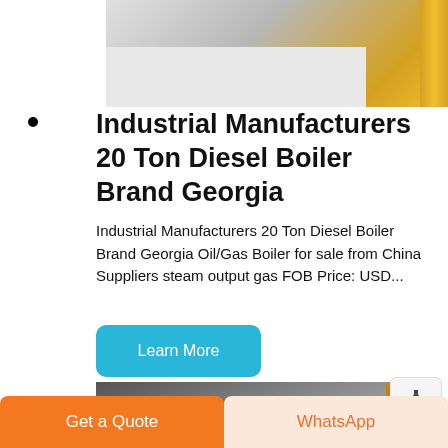[Figure (photo): Top portion of industrial equipment photo showing a floor area and yellow pipe/pole on the right side]
Industrial Manufacturers 20 Ton Diesel Boiler Brand Georgia
Industrial Manufacturers 20 Ton Diesel Boiler Brand Georgia Oil/Gas Boiler for sale from China Suppliers steam output gas FOB Price: USD...
Learn More
[Figure (photo): Industrial boiler room showing a large cylindrical boiler unit with yellow and red pipes]
Get a Quote
WhatsApp